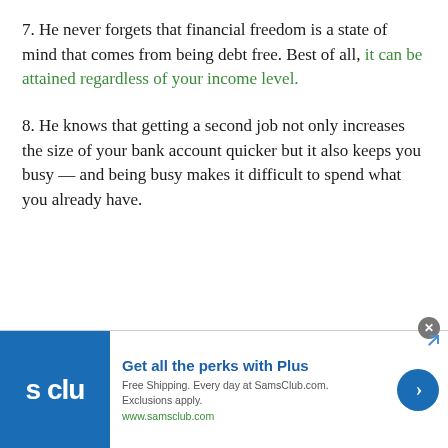7. He never forgets that financial freedom is a state of mind that comes from being debt free. Best of all, it can be attained regardless of your income level.
8. He knows that getting a second job not only increases the size of your bank account quicker but it also keeps you busy — and being busy makes it difficult to spend what you already have.
[Figure (other): Advertisement banner for Sam's Club showing logo, 'Get all the perks with Plus', free shipping offer, www.samsclub.com URL, and a blue arrow button.]